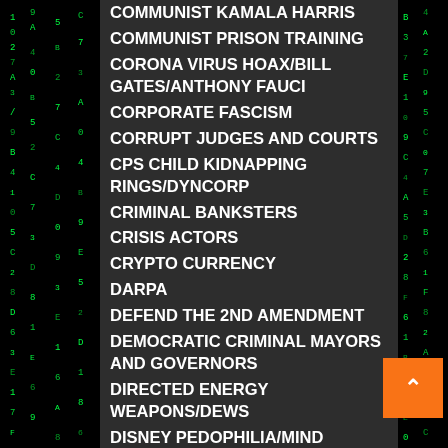COMMUNIST KAMALA HARRIS
COMMUNIST PRISON TRAINING
CORONA VIRUS HOAX/BILL GATES/ANTHONY FAUCI
CORPORATE FASCISM
CORRUPT JUDGES AND COURTS
CPS CHILD KIDNAPPING RINGS/DYNCORP
CRIMINAL BANKSTERS
CRISIS ACTORS
CRYPTO CURRENCY
DARPA
DEFEND THE 2ND AMENDMENT
DEMOCRATIC CRIMINAL MAYORS AND GOVERNORS
DIRECTED ENERGY WEAPONS/DEWS
DISNEY PEDOPHILIA/MIND CONTROL
DIVIDE AND CONQUER RACE PIMPS